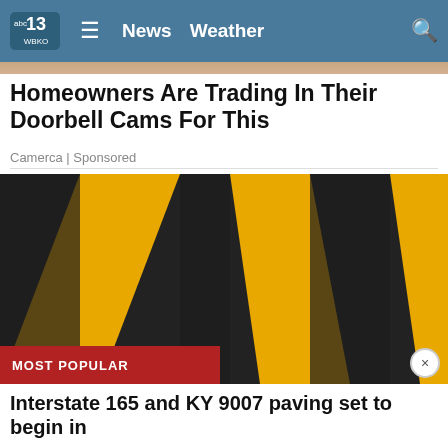abc13 WBKO | News  Weather
[Figure (photo): Top strip image of outdoor scene]
Homeowners Are Trading In Their Doorbell Cams For This
Camerca | Sponsored
[Figure (photo): Close-up of asphalt road with bright yellow painted diagonal stripes]
MOST POPULAR
Interstate 165 and KY 9007 paving set to begin in